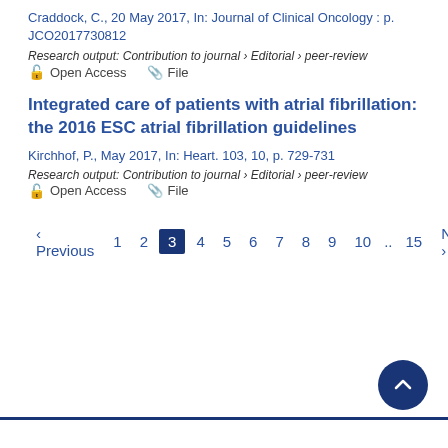Craddock, C., 20 May 2017, In: Journal of Clinical Oncology : p. JCO2017730812
Research output: Contribution to journal › Editorial › peer-review
Open Access   File
Integrated care of patients with atrial fibrillation: the 2016 ESC atrial fibrillation guidelines
Kirchhof, P., May 2017, In: Heart. 103, 10, p. 729-731
Research output: Contribution to journal › Editorial › peer-review
Open Access   File
‹ Previous  1  2  3  4  5  6  7  8  9  10  ...  15  Next ›